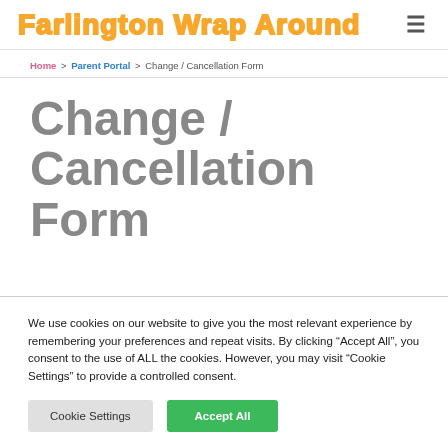Farlington Wrap Around
Home > Parent Portal > Change / Cancellation Form
Change / Cancellation Form
We use cookies on our website to give you the most relevant experience by remembering your preferences and repeat visits. By clicking “Accept All”, you consent to the use of ALL the cookies. However, you may visit “Cookie Settings” to provide a controlled consent.